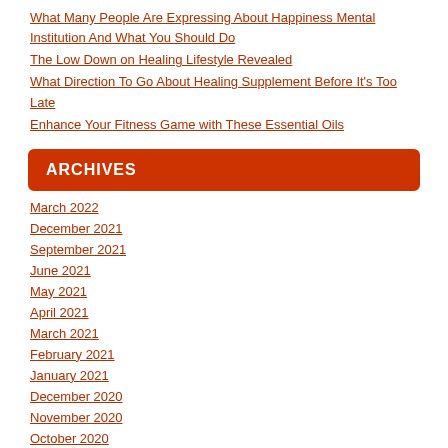What Many People Are Expressing About Happiness Mental Institution And What You Should Do
The Low Down on Healing Lifestyle Revealed
What Direction To Go About Healing Supplement Before It's Too Late
Enhance Your Fitness Game with These Essential Oils
ARCHIVES
March 2022
December 2021
September 2021
June 2021
May 2021
April 2021
March 2021
February 2021
January 2021
December 2020
November 2020
October 2020
September 2020